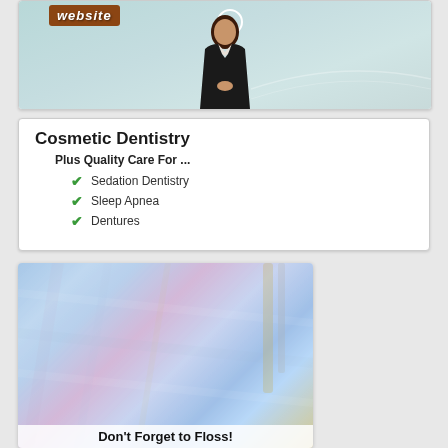[Figure (screenshot): Video thumbnail showing a woman presenter in a black suit against a light teal background, with a brown wooden sign reading 'website' and a play button overlay]
Cosmetic Dentistry
Plus Quality Care For ...
Sedation Dentistry
Sleep Apnea
Dentures
[Figure (photo): Close-up photo of dental tools and equipment with blue and purple lighting tones]
Don't Forget to Floss!